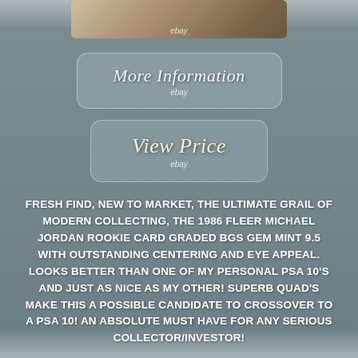[Figure (photo): Partial view of a trading card or collectible photo, cropped at top]
[Figure (other): Button: More Information with ebay label]
[Figure (other): Button: View Price with ebay label]
FRESH FIND, NEW TO MARKET, THE ULTIMATE GRAIL OF MODERN COLLECTING, THE 1986 FLEER MICHAEL JORDAN ROOKIE CARD GRADED BGS GEM MINT 9.5 WITH OUTSTANDING CENTERING AND EYE APPEAL. LOOKS BETTER THAN ONE OF MY PERSONAL PSA 10'S AND JUST AS NICE AS MY OTHER! SUPERB QUAD'S MAKE THIS A POSSIBLE CANDIDATE TO CROSSOVER TO A PSA 10! AN ABSOLUTE MUST HAVE FOR ANY SERIOUS COLLECTOR/INVESTOR!